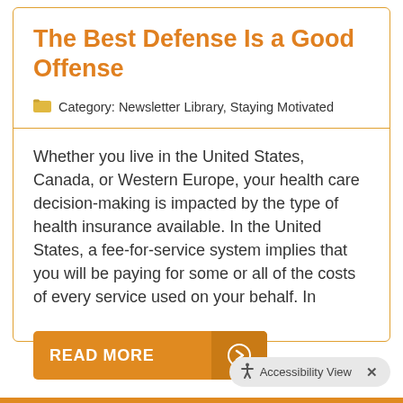The Best Defense Is a Good Offense
Category: Newsletter Library, Staying Motivated
Whether you live in the United States, Canada, or Western Europe, your health care decision-making is impacted by the type of health insurance available. In the United States, a fee-for-service system implies that you will be paying for some or all of the costs of every service used on your behalf. In
READ MORE →
Accessibility View ×